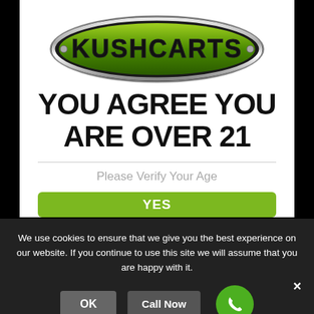[Figure (logo): KushCarts oval logo with green metallic text on black background with silver chrome border]
YOU AGREE YOU ARE OVER 21
Please Verify Your Age
YES
We use cookies to ensure that we give you the best experience on our website. If you continue to use this site we will assume that you are happy with it.
OK
Call Now